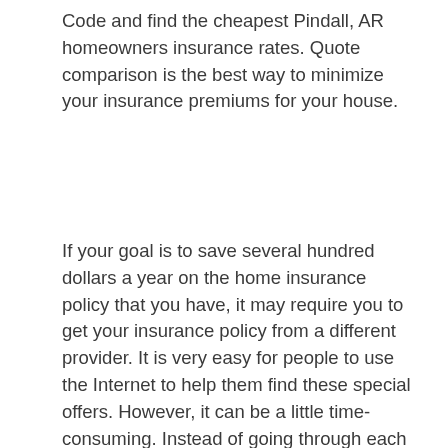Code and find the cheapest Pindall, AR homeowners insurance rates. Quote comparison is the best way to minimize your insurance premiums for your house.
If your goal is to save several hundred dollars a year on the home insurance policy that you have, it may require you to get your insurance policy from a different provider. It is very easy for people to use the Internet to help them find these special offers. However, it can be a little time-consuming. Instead of going through each individual company that you find, you might want to consider using websites that have already gone through the evaluation process. You can use the information that they have on their website to either be directed to the special deals, or you can submit your information on their website to get multiple